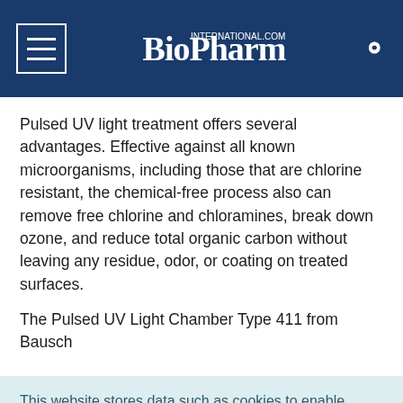BioPharm International
Pulsed UV light treatment offers several advantages. Effective against all known microorganisms, including those that are chlorine resistant, the chemical-free process also can remove free chlorine and chloramines, break down ozone, and reduce total organic carbon without leaving any residue, odor, or coating on treated surfaces.
The Pulsed UV Light Chamber Type 411 from Bausch
This website stores data such as cookies to enable essential site functionality, as well as marketing, personalization, and analytics. Cookie Policy
Accept
Deny